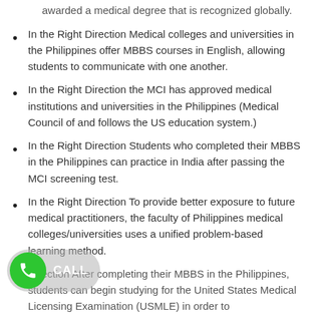awarded a medical degree that is recognized globally.
In the Right Direction Medical colleges and universities in the Philippines offer MBBS courses in English, allowing students to communicate with one another.
In the Right Direction the MCI has approved medical institutions and universities in the Philippines (Medical Council of and follows the US education system.)
In the Right Direction Students who completed their MBBS in the Philippines can practice in India after passing the MCI screening test.
In the Right Direction To provide better exposure to future medical practitioners, the faculty of Philippines medical colleges/universities uses a unified problem-based learning method.
In the Right Direction After completing their MBBS in the Philippines, students can begin studying for the United States Medical Licensing Examination (USMLE) in order to